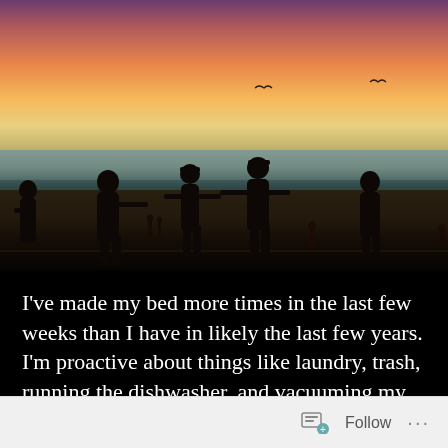[Figure (photo): Beach sunset photo: silhouettes of people on a dark sandy beach against a vivid orange-pink-purple gradient sky. Several people visible, some appearing to interact or play. Ocean waves visible in the background. Two birds flying in the upper sky. Dark foreground sand. Text overlay on the lower portion reads: I've made my bed more times in the last few weeks than I have in likely the last few years. I'm proactive about things like laundry, trash, running the dishwasher, and vacuuming my room. I'm]
I've made my bed more times in the last few weeks than I have in likely the last few years. I'm proactive about things like laundry, trash, running the dishwasher, and vacuuming my room. I'm
Follow ...